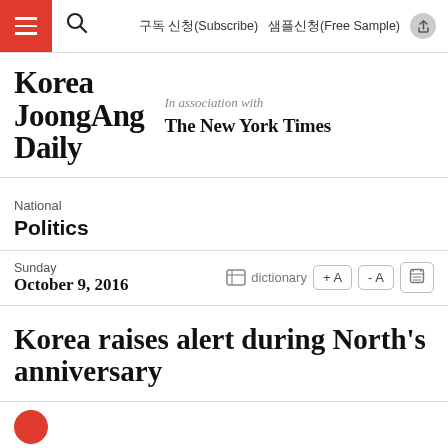구독 신청(Subscribe)   샘플신청(Free Sample)
[Figure (logo): Korea JoongAng Daily logo and The New York Times association logo]
National
Politics
Sunday
October 9, 2016
Korea raises alert during North's anniversary